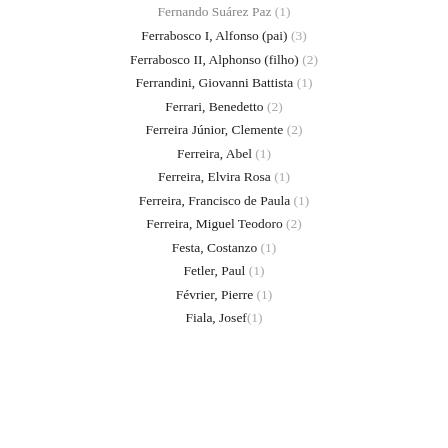Fernando Suárez Paz (1)
Ferrabosco I, Alfonso (pai) (3)
Ferrabosco II, Alphonso (filho) (2)
Ferrandini, Giovanni Battista (1)
Ferrari, Benedetto (2)
Ferreira Júnior, Clemente (2)
Ferreira, Abel (1)
Ferreira, Elvira Rosa (1)
Ferreira, Francisco de Paula (1)
Ferreira, Miguel Teodoro (2)
Festa, Costanzo (1)
Fetler, Paul (1)
Février, Pierre (1)
Fiala, Josef (1)